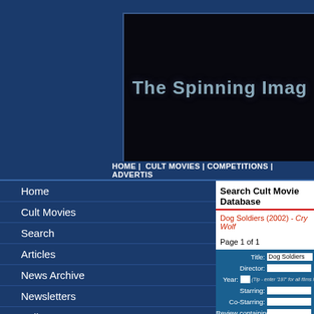The Spinning Image
HOME | CULT MOVIES | COMPETITIONS | ADVERTISE
Home
Cult Movies
Search
Articles
News Archive
Newsletters
Polls
Competitions
Links
Advertise
Search Cult Movie Database
Dog Soldiers (2002) - Cry Wolf
Page 1 of 1
Title: Dog Soldiers
Director:
Year: (Tip - enter '197' for all films in...
Starring:
Co-Starring:
Review containing:
Genre1:
Genre2: